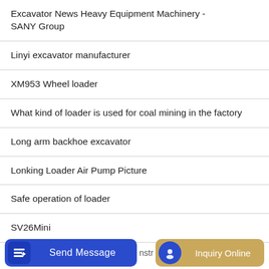Excavator News Heavy Equipment Machinery - SANY Group
Linyi excavator manufacturer
XM953 Wheel loader
What kind of loader is used for coal mining in the factory
Long arm backhoe excavator
Lonking Loader Air Pump Picture
Safe operation of loader
SV26Mini